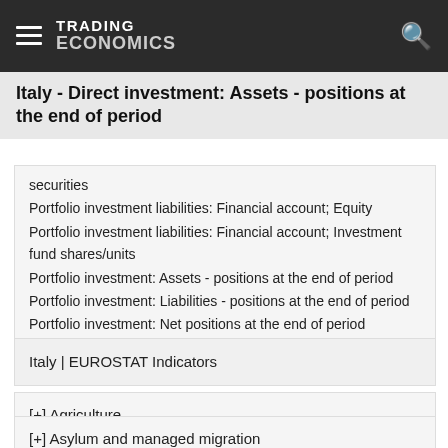TRADING ECONOMICS
Italy - Direct investment: Assets - positions at the end of period
securities
Portfolio investment liabilities: Financial account; Equity
Portfolio investment liabilities: Financial account; Investment fund shares/units
Portfolio investment: Assets - positions at the end of period
Portfolio investment: Liabilities - positions at the end of period
Portfolio investment: Net positions at the end of period
Italy | EUROSTAT Indicators
[+] Agriculture
[+] Asylum and managed migration